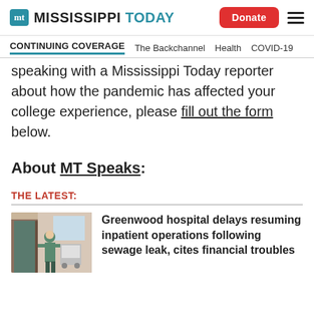MT MISSISSIPPI TODAY | Donate [button] | hamburger menu
CONTINUING COVERAGE  The Backchannel  Health  COVID-19
speaking with a Mississippi Today reporter about how the pandemic has affected your college experience, please fill out the form below.
About MT Speaks:
THE LATEST:
Greenwood hospital delays resuming inpatient operations following sewage leak, cites financial troubles